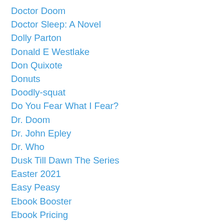Doctor Doom
Doctor Sleep: A Novel
Dolly Parton
Donald E Westlake
Don Quixote
Donuts
Doodly-squat
Do You Fear What I Fear?
Dr. Doom
Dr. John Epley
Dr. Who
Dusk Till Dawn The Series
Easter 2021
Easy Peasy
Ebook Booster
Ebook Pricing
EcoRealx
EcoRealx Electric Kettle
Edge Of Tomorrow
Eerie
Elbow C…